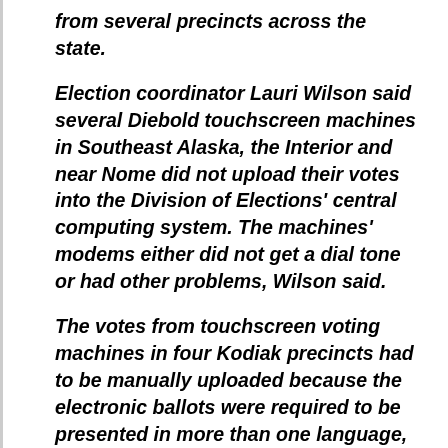from several precincts across the state.
Election coordinator Lauri Wilson said several Diebold touchscreen machines in Southeast Alaska, the Interior and near Nome did not upload their votes into the Division of Elections' central computing system. The machines' modems either did not get a dial tone or had other problems, Wilson said.
The votes from touchscreen voting machines in four Kodiak precincts had to be manually uploaded because the electronic ballots were required to be presented in more than one language, Wilson said.